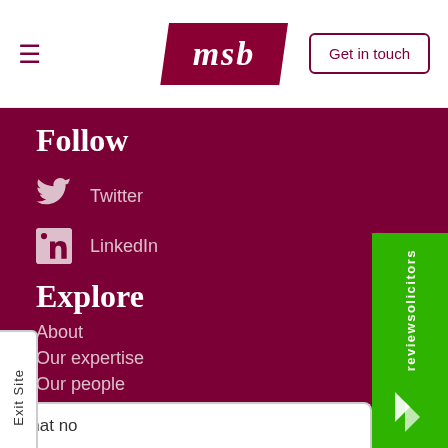msb — Get in touch
Follow
Twitter
LinkedIn
Explore
About
Our expertise
Our people
Careers
News
Contact
Exit Site
[Figure (logo): reviewsolicitors green badge widget]
Chat now